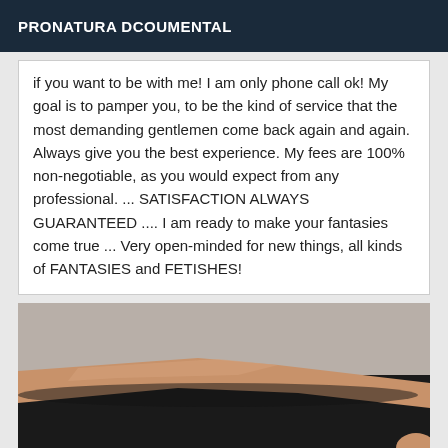PRONATURA DCOUMENTAL
if you want to be with me! I am only phone call ok! My goal is to pamper you, to be the kind of service that the most demanding gentlemen come back again and again. Always give you the best experience. My fees are 100% non-negotiable, as you would expect from any professional. ... SATISFACTION ALWAYS GUARANTEED .... I am ready to make your fantasies come true ... Very open-minded for new things, all kinds of FANTASIES and FETISHES!
[Figure (photo): A close-up photograph showing a person's arm/hand resting on a dark black surface, with a light wall in the background.]